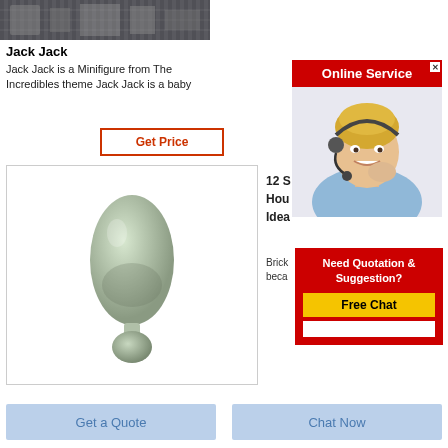[Figure (photo): Top banner image showing industrial machinery or factory equipment in grayscale]
Jack Jack
Jack Jack is a Minifigure from The Incredibles theme Jack Jack is a baby
Get Price
[Figure (photo): A ceramic or glass egg-shaped vase/figurine in light green/grey color on a small round base]
12 S
Hou
Idea
Brick
beca
[Figure (photo): Online Service popup with a blonde woman wearing a headset, smiling]
Online Service
Need Quotation & Suggestion?
Free Chat
Get a Quote
Chat Now